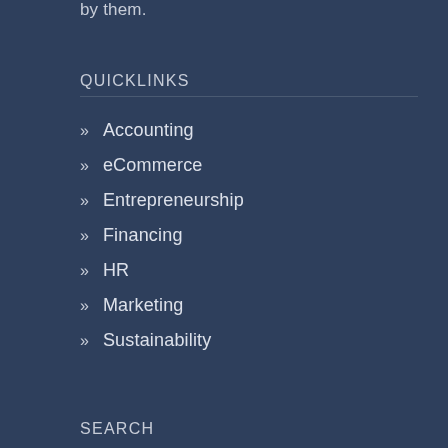by them.
QUICKLINKS
» Accounting
» eCommerce
» Entrepreneurship
» Financing
» HR
» Marketing
» Sustainability
SEARCH